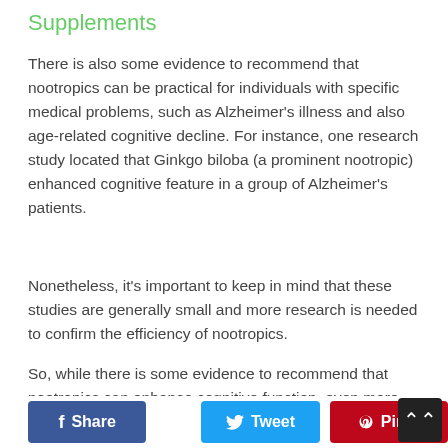Supplements
There is also some evidence to recommend that nootropics can be practical for individuals with specific medical problems, such as Alzheimer's illness and also age-related cognitive decline. For instance, one research study located that Ginkgo biloba (a prominent nootropic) enhanced cognitive feature in a group of Alzheimer's patients.
Nonetheless, it's important to keep in mind that these studies are generally small and more research is needed to confirm the efficiency of nootropics.
So, while there is some evidence to recommend that nootropics can enhance cognitive function, even more study is required to verify their efficacy.
[Figure (other): Social share buttons: Facebook Share, Twitter Tweet, Pinterest Pin it, and a scroll-to-top arrow button]